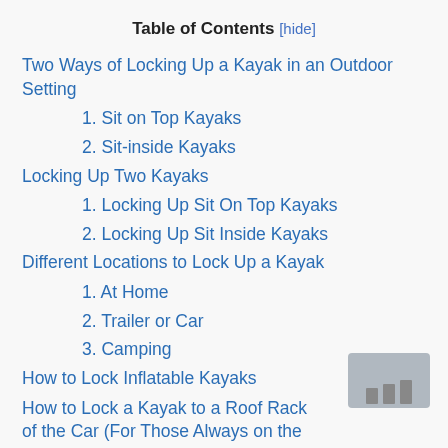Table of Contents [hide]
Two Ways of Locking Up a Kayak in an Outdoor Setting
1. Sit on Top Kayaks
2. Sit-inside Kayaks
Locking Up Two Kayaks
1. Locking Up Sit On Top Kayaks
2. Locking Up Sit Inside Kayaks
Different Locations to Lock Up a Kayak
1. At Home
2. Trailer or Car
3. Camping
How to Lock Inflatable Kayaks
How to Lock a Kayak to a Roof Rack of the Car (For Those Always on the Go)
More Tips in Locking Up a Kayak
1. Homeowner's Policy and Kayak Insurance